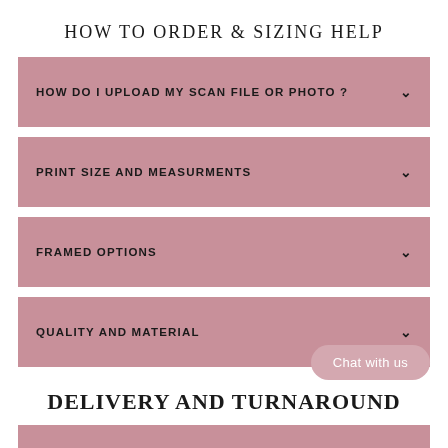HOW TO ORDER & SIZING HELP
HOW DO I UPLOAD MY SCAN FILE OR PHOTO ?
PRINT SIZE AND MEASURMENTS
FRAMED OPTIONS
QUALITY AND MATERIAL
DELIVERY AND TURNAROUND
WHAT IS YOUR TURNAROUND BEFO...
[Figure (other): Chat with us bubble overlay button]